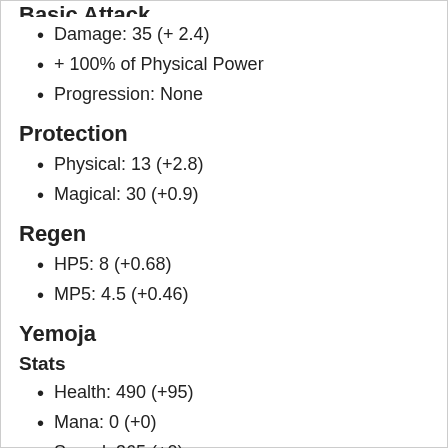Basic Attack
Damage: 35 (+ 2.4)
+ 100% of Physical Power
Progression: None
Protection
Physical: 13 (+2.8)
Magical: 30 (+0.9)
Regen
HP5: 8 (+0.68)
MP5: 4.5 (+0.46)
Yemoja
Stats
Health: 490 (+95)
Mana: 0 (+0)
Speed: 365 (+0)
Range: 55 (+0)